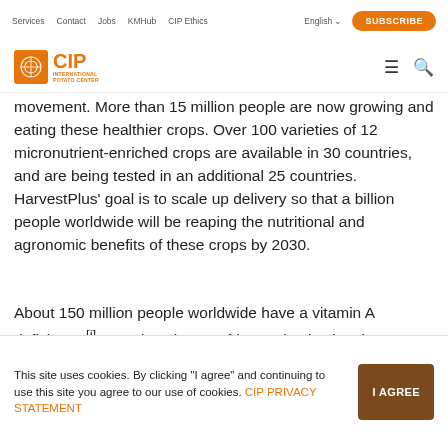Services  Contact  Jobs  KMHub  CIP Ethics  English  SUBSCRIBE
[Figure (logo): CIP International Potato Center logo with orange square icon and text]
movement. More than 15 million people are now growing and eating these healthier crops. Over 100 varieties of 12 micronutrient-enriched crops are available in 30 countries, and are being tested in an additional 25 countries. HarvestPlus' goal is to scale up delivery so that a billion people worldwide will be reaping the nutritional and agronomic benefits of these crops by 2030.
About 150 million people worldwide have a vitamin A deficiency.[i]  In Sub-Saharan Africa and Asia vitamin A
This site uses cookies. By clicking "I agree" and continuing to use this site you agree to our use of cookies. CIP PRIVACY STATEMENT